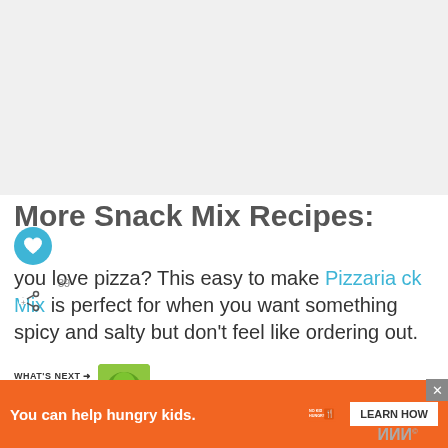[Figure (photo): Light gray placeholder image at top of page]
More Snack Mix Recipes:
you love pizza? This easy to make Pizzaria ck Mix is perfect for when you want something spicy and salty but don't feel like ordering out.
If you love Chex Mix, you will definitely want to play around the made...
[Figure (infographic): Orange advertisement banner: 'You can help hungry kids.' with No Kid Hungry logo and LEARN HOW button]